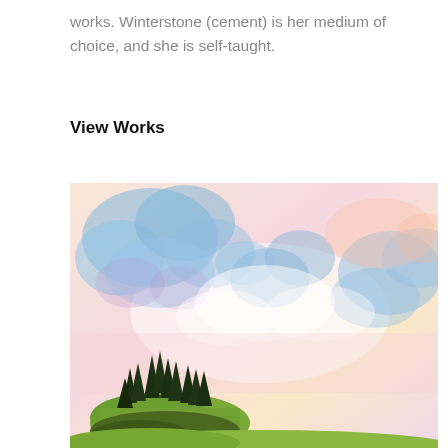works. Winterstone (cement) is her medium of choice, and she is self-taught.
View Works
[Figure (illustration): A watercolor painting depicting a dramatic sky filled with soft blue, pink, lavender, and peach-hued clouds. In the lower portion of the painting, a small rocky island or hill covered in dark green conifer trees is visible, with additional landscape elements at the bottom.]